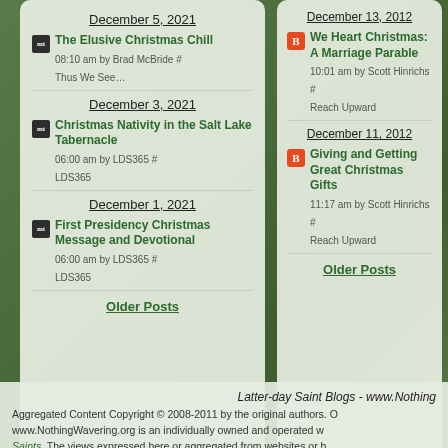December 5, 2021
The Elusive Christmas Chill
08:10 am by Brad McBride #
Thus We See…
December 3, 2021
Christmas Nativity in the Salt Lake Tabernacle
06:00 am by LDS365 #
LDS365
December 1, 2021
First Presidency Christmas Message and Devotional
06:00 am by LDS365 #
LDS365
Older Posts
December 13, 2012
We Heart Christmas: A Marriage Parable
10:01 am by Scott Hinrichs #
Reach Upward
December 11, 2012
Giving and Getting Great Christmas Gifts
11:17 am by Scott Hinrichs #
Reach Upward
Older Posts
Latter-day Saint Blogs - www.Nothing
Aggregated Content Copyright © 2008-2011 by the original authors. O
www.NothingWavering.org is an individually owned and operated w
Saints. The views expressed here or aggregated from websites or b
individual authors and do not necessarily represent the official position